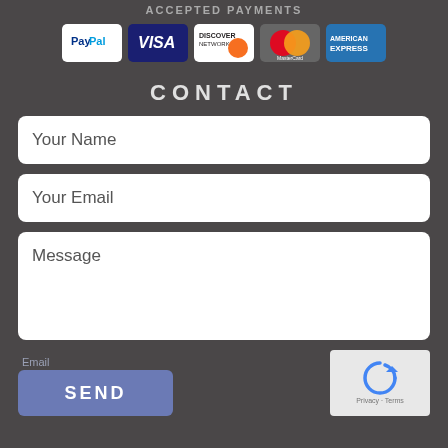ACCEPTED PAYMENTS
[Figure (other): Payment method logos: PayPal, Visa, Discover Network, MasterCard, American Express]
CONTACT
Your Name
Your Email
Message
Email
SEND
[Figure (other): reCAPTCHA widget with Privacy and Terms links]